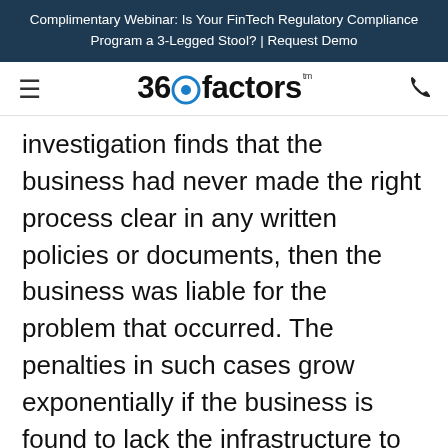Complimentary Webinar: Is Your FinTech Regulatory Compliance Program a 3-Legged Stool? | Request Demo
[Figure (logo): 360factors logo with hamburger menu icon on left and phone icon on right]
investigation finds that the business had never made the right process clear in any written policies or documents, then the business was liable for the problem that occurred. The penalties in such cases grow exponentially if the business is found to lack the infrastructure to deal with the problem itself. If the business policy adequately explains the right business